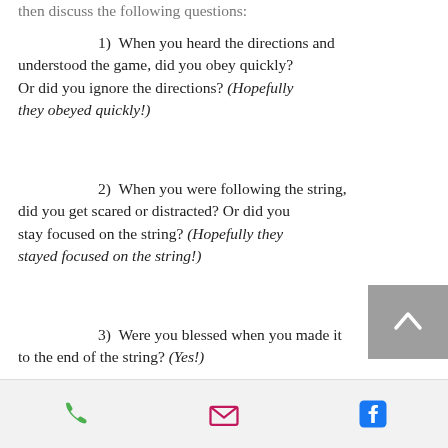then discuss the following questions:
1)  When you heard the directions and understood the game, did you obey quickly? Or did you ignore the directions? (Hopefully they obeyed quickly!)
2)  When you were following the string, did you get scared or distracted? Or did you stay focused on the string? (Hopefully they stayed focused on the string!)
3)  Were you blessed when you made it to the end of the string? (Yes!)
Explain: You all just did something that God wants us to learn how to do. When we learn to